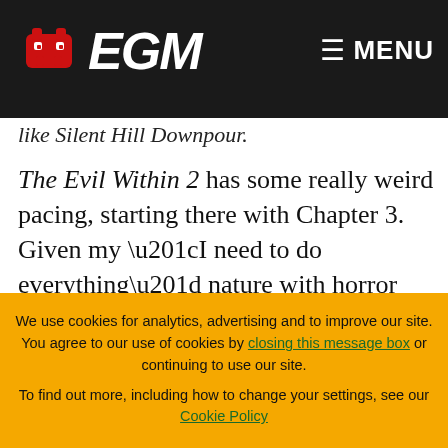EGM — MENU
like Silent Hill Downpour.
The Evil Within 2 has some really weird pacing, starting there with Chapter 3. Given my “I need to do everything” nature with horror games of that structure, I wouldn’t let myself move on until I had finished all of the side missions in that section of the game. (Plus, I was having a lot of fun simply exploring the town and
We use cookies for analytics, advertising and to improve our site. You agree to our use of cookies by closing this message box or continuing to use our site. To find out more, including how to change your settings, see our Cookie Policy